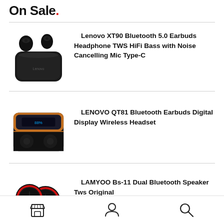On Sale.
[Figure (photo): Lenovo XT90 Bluetooth earbuds with charging case, black]
Lenovo XT90 Bluetooth 5.0 Earbuds Headphone TWS HiFi Bass with Noise Cancelling Mic Type-C
[Figure (photo): LENOVO QT81 Bluetooth earbuds in open charging case with digital display, black and gold]
LENOVO QT81 Bluetooth Earbuds Digital Display Wireless Headset
[Figure (photo): LAMYOO Bs-11 dual Bluetooth speaker, black with red trim]
LAMYOO Bs-11 Dual Bluetooth Speaker Tws Original
Navigation bar with store, user, and search icons